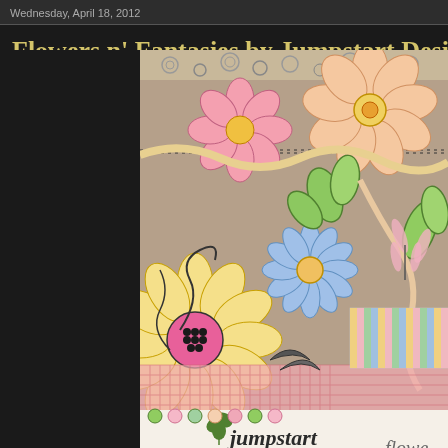Wednesday, April 18, 2012
Flowers n' Fantasies by Jumpstart Designs
[Figure (photo): Scrapbooking kit preview image showing colorful illustrated flowers (yellow, pink, blue, green) on a tan/kraft paper background with ribbons, swirls, and decorative elements. Bottom shows 'Jumpstart Designs by Sheri' logo, 'Helping to jumpstart your creativity!', 'personal use' and '$4H/$40' labels, and a 'flowe...' text cut off at right edge.]